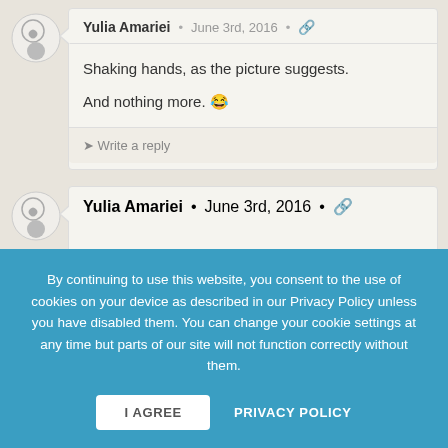Yulia Amariei · June 3rd, 2016 · 🔗
Shaking hands, as the picture suggests.
And nothing more. 😂
→ Write a reply
Yulia Amariei · June 3rd, 2016 · 🔗
Shaking hands, as the picture suggests.
By continuing to use this website, you consent to the use of cookies on your device as described in our Privacy Policy unless you have disabled them. You can change your cookie settings at any time but parts of our site will not function correctly without them.
I AGREE
PRIVACY POLICY